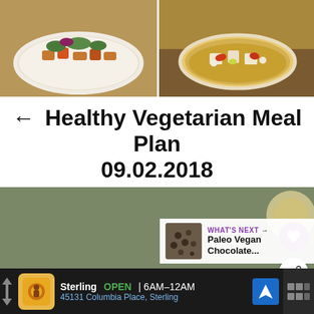[Figure (photo): Two food photos side by side: left shows a bowl with roasted vegetables and greens, right shows a bowl of curry or soup with tofu and peppers]
← Healthy Vegetarian Meal Plan 09.02.2018
[Figure (photo): Salmon skewers with lemon and broccoli pesto served over quinoa on a plate, with cherry tomatoes. Social icons (heart, share) visible on right side. 'What's Next' box showing 'Paleo Vegan Chocolate...']
WHAT'S NEXT → Paleo Vegan Chocolate...
Sterling OPEN 6AM–12AM 45131 Columbia Place, Sterling